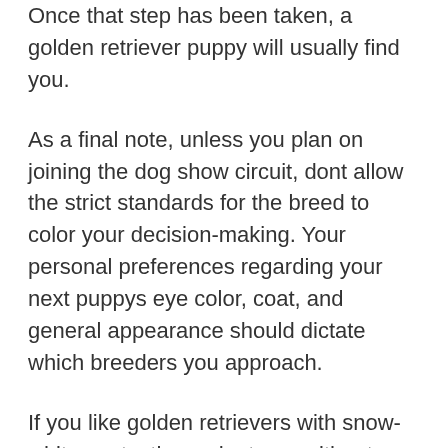Once that step has been taken, a golden retriever puppy will usually find you.
As a final note, unless you plan on joining the dog show circuit, dont allow the strict standards for the breed to color your decision-making. Your personal preferences regarding your next puppys eye color, coat, and general appearance should dictate which breeders you approach.
If you like golden retrievers with snow-white coats, then adopt one without worrying about whether your new puppy would get disqualified at the annual Westminster Kennel Club Dog Show. The point of adopting a new golden retriever puppy is fostering the loving bond between you and your beautiful, new pet.
You May Like: Are Golden Retrievers Hypoallergenic Dogs